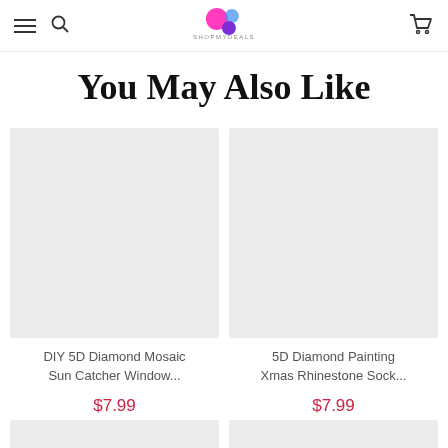SHOPMYDEALS navigation header with logo
You May Also Like
[Figure (photo): Product image placeholder – grey rectangle for DIY 5D Diamond Mosaic Sun Catcher Window product]
DIY 5D Diamond Mosaic Sun Catcher Window...
$7.99
[Figure (photo): Product image placeholder – grey rectangle for 5D Diamond Painting Xmas Rhinestone Sock product]
5D Diamond Painting Xmas Rhinestone Sock...
$7.99